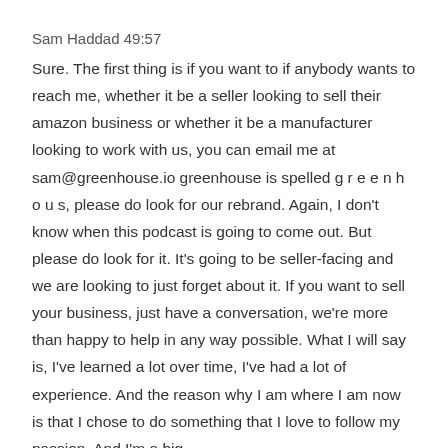Sam Haddad 49:57
Sure. The first thing is if you want to if anybody wants to reach me, whether it be a seller looking to sell their amazon business or whether it be a manufacturer looking to work with us, you can email me at sam@greenhouse.io greenhouse is spelled g r e e n h o u s, please do look for our rebrand. Again, I don't know when this podcast is going to come out. But please do look for it. It's going to be seller-facing and we are looking to just forget about it. If you want to sell your business, just have a conversation, we're more than happy to help in any way possible. What I will say is, I've learned a lot over time, I've had a lot of experience. And the reason why I am where I am now is that I chose to do something that I love to follow my passion. And I'm a big